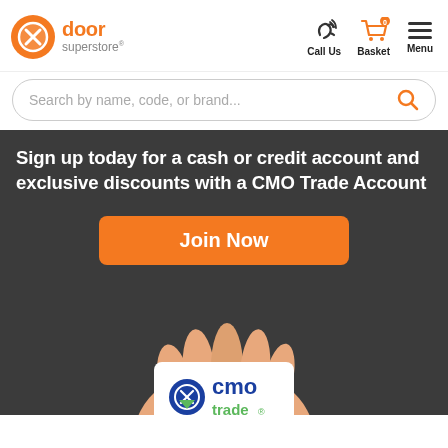[Figure (logo): Door Superstore logo — orange circle with person/door icon, text 'door superstore®']
[Figure (screenshot): Navigation icons: phone/Call Us, shopping cart with '0'/Basket, hamburger menu/Menu]
[Figure (screenshot): Search bar with placeholder 'Search by name, code, or brand...' and orange search icon]
Sign up today for a cash or credit account and exclusive discounts with a CMO Trade Account
[Figure (other): Orange 'Join Now' button]
[Figure (photo): Hand holding a white CMO Trade card showing 'cmo trade®' logo in blue and green]